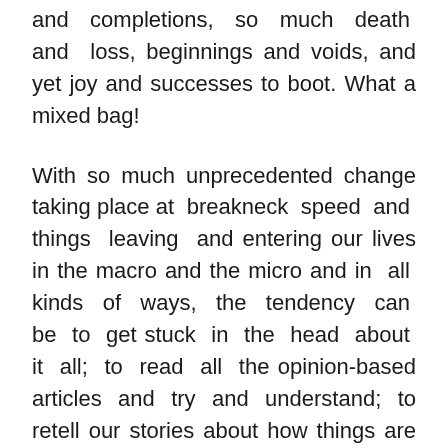and completions, so much death and loss, beginnings and voids, and yet joy and successes to boot. What a mixed bag!
With so much unprecedented change taking place at breakneck speed and things leaving and entering our lives in the macro and the micro and in all kinds of ways, the tendency can be to get stuck in the head about it all; to read all the opinion-based articles and try and understand; to retell our stories about how things are and who is right and who is wrong, until we are blue in the face; and to identify with all the limiting thoughts and beliefs.